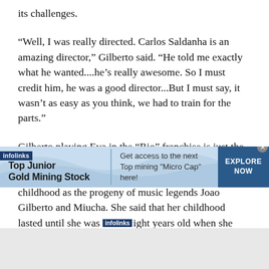its challenges.
“Well, I was really directed. Carlos Saldanha is an amazing director,” Gilberto said. “He told me exactly what he wanted....he’s really awesome. So I must credit him, he was a good director...But I must say, it wasn’t as easy as you think, we had to train for the parts.”
Gilberto playing Eva in the “Rio” franchise is just the latest in a storied career that has spanned three decades professionally, but reaches much further back to her childhood as the progeny of music legends Joao Gilberto and Miucha. She said that her childhood lasted until she was eight years old when she started singing and later
[Figure (screenshot): Infolinks advertisement banner: Top Junior Gold Mining Stock - Get access to the next Top mining 'Micro Cap' here! EXPLORE NOW]